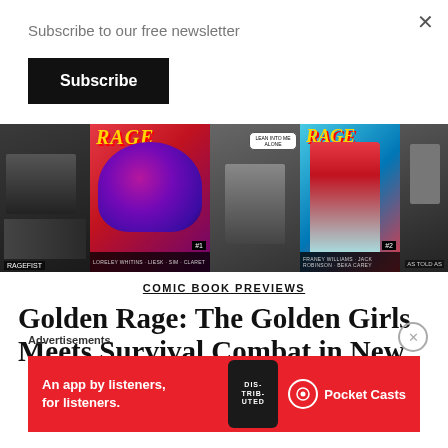Subscribe to our free newsletter
Subscribe
[Figure (illustration): Comic book preview banner showing multiple panels from Golden Rage comic — black and white interior art panels flanking two color covers featuring the RAGE logo in yellow, dramatic hands graphic, and a female character figure.]
COMIC BOOK PREVIEWS
Golden Rage: The Golden Girls Meets Survival Combat in New
Advertisements
[Figure (infographic): Red advertisement banner for Pocket Casts app reading: An app by listeners, for listeners. Shows Pocket Casts logo and a phone with Distributed text on screen.]